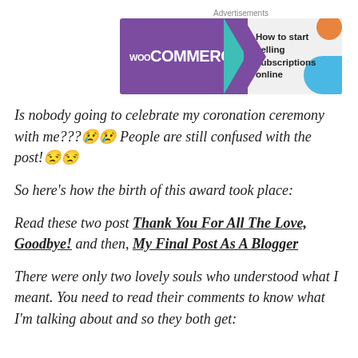[Figure (other): WooCommerce advertisement banner with purple background on left showing WooCommerce logo, and light background on right with text 'How to start selling subscriptions online'. Decorative teal triangle, orange circle, and blue arc shapes.]
Is nobody going to celebrate my coronation ceremony with me???😢😢 People are still confused with the post!😒😒
So here's how the birth of this award took place:
Read these two post Thank You For All The Love, Goodbye! and then, My Final Post As A Blogger
There were only two lovely souls who understood what I meant. You need to read their comments to know what I'm talking about and so they both get: